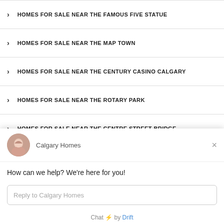HOMES FOR SALE NEAR THE FAMOUS FIVE STATUE
HOMES FOR SALE NEAR THE MAP TOWN
HOMES FOR SALE NEAR THE CENTURY CASINO CALGARY
HOMES FOR SALE NEAR THE ROTARY PARK
HOMES FOR SALE NEAR THE CENTRE STREET BRIDGE
HOMES FOR SALE NEAR THE SUE HIGGINS PARK
[Figure (screenshot): Chat popup from Calgary Homes with greeting message and reply input field. Footer says 'Chat by Drift'.]